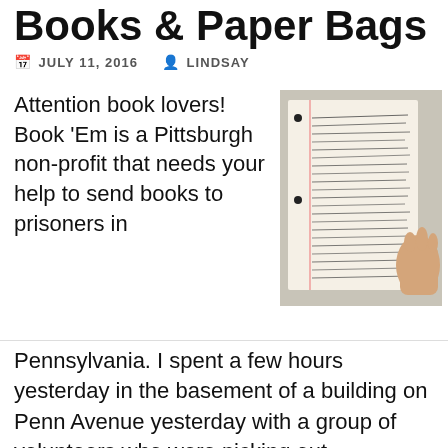Books & Paper Bags
JULY 11, 2016   LINDSAY
Attention book lovers! Book 'Em is a Pittsburgh non-profit that needs your help to send books to prisoners in
[Figure (photo): A hand holding a handwritten letter on lined paper, photographed from above.]
Pennsylvania. I spent a few hours yesterday in the basement of a building on Penn Avenue yesterday with a group of volunteers who were picking out books to send to prisoners.